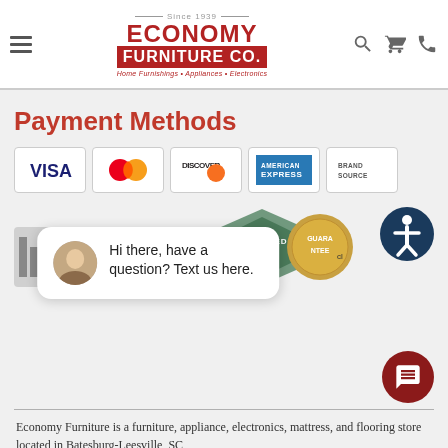Economy Furniture Co. — Since 1939 — Home Furnishings • Appliances • Electronics
Payment Methods
[Figure (logo): Payment method logos: VISA, MasterCard, Discover, American Express, Brand Source]
[Figure (infographic): HomeFurnish logo, Certified badge, Guarantee badge, Accessibility button]
[Figure (screenshot): Chat popup with avatar: Hi there, have a question? Text us here.]
Economy Furniture is a furniture, appliance, electronics, mattress, and flooring store located in Batesburg-Leesville, SC